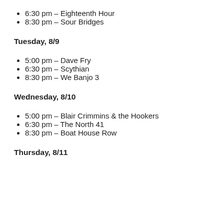6:30 pm – Eighteenth Hour
8:30 pm – Sour Bridges
Tuesday, 8/9
5:00 pm – Dave Fry
6:30 pm – Scythian
8:30 pm – We Banjo 3
Wednesday, 8/10
5:00 pm – Blair Crimmins & the Hookers
6:30 pm – The North 41
8:30 pm – Boat House Row
Thursday, 8/11